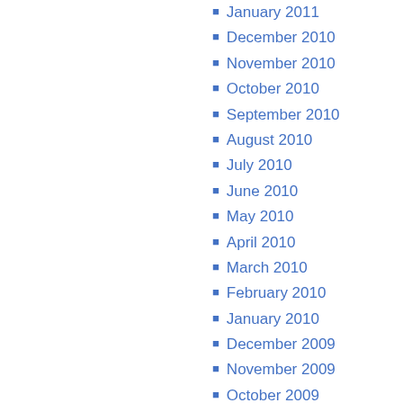January 2011
December 2010
November 2010
October 2010
September 2010
August 2010
July 2010
June 2010
May 2010
April 2010
March 2010
February 2010
January 2010
December 2009
November 2009
October 2009
September 2009
August 2009